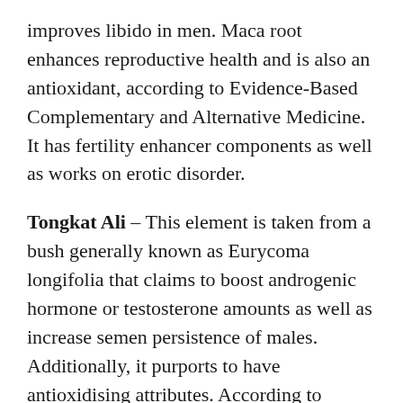improves libido in men. Maca root enhances reproductive health and is also an antioxidant, according to Evidence-Based Complementary and Alternative Medicine. It has fertility enhancer components as well as works on erotic disorder.
Tongkat Ali – This element is taken from a bush generally known as Eurycoma longifolia that claims to boost androgenic hormone or testosterone amounts as well as increase semen persistence of males. Additionally, it purports to have antioxidising attributes. According to Translational Andrology and Urology, Tongkat Ali is a native plant found in South East Asia used to enhance testosterone and the production of GMP.
L-Arginine – This ingredient is surely an protein,